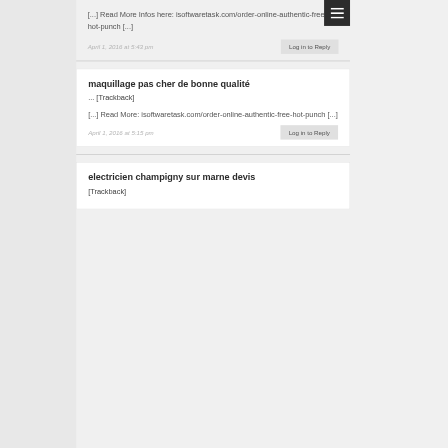[...] Read More Infos here: isoftwaretask.com/order-online-authentic-free-hot-punch [...]
April 1, 2016 at 5:43 pm
Log in to Reply
maquillage pas cher de bonne qualité
... [Trackback]
[...] Read More: isoftwaretask.com/order-online-authentic-free-hot-punch [...]
April 1, 2016 at 5:15 pm
Log in to Reply
electricien champigny sur marne devis
[Trackback]